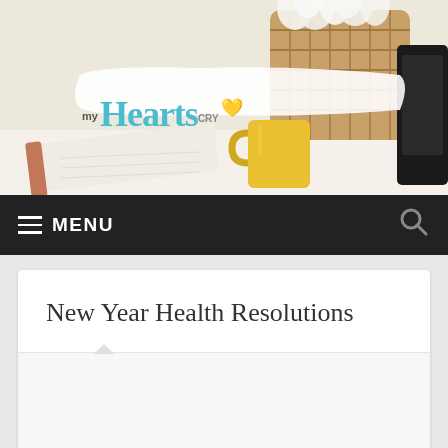[Figure (photo): Header photo of a desk scene with a wicker basket of white flowers, yellow coffee mug, notebook with brown cover, and a tablet, with a white paint-stroke logo overlay reading 'myHeartsCry']
≡ MENU
New Year Health Resolutions